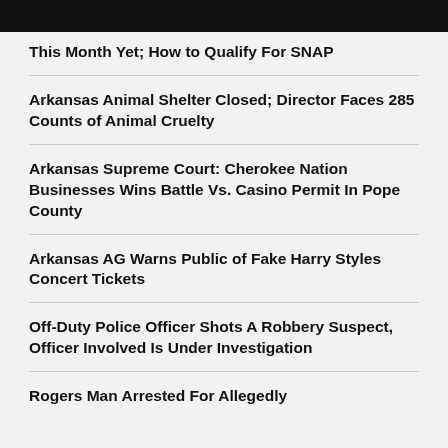This Month Yet; How to Qualify For SNAP
Arkansas Animal Shelter Closed; Director Faces 285 Counts of Animal Cruelty
Arkansas Supreme Court: Cherokee Nation Businesses Wins Battle Vs. Casino Permit In Pope County
Arkansas AG Warns Public of Fake Harry Styles Concert Tickets
Off-Duty Police Officer Shots A Robbery Suspect, Officer Involved Is Under Investigation
Rogers Man Arrested For Allegedly